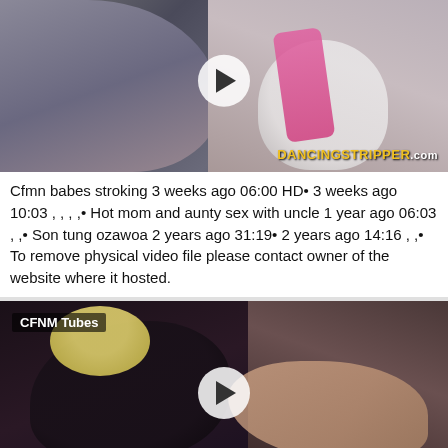[Figure (screenshot): Video thumbnail showing people, with DancingStripper.com watermark and play button overlay]
Cfmn babes stroking 3 weeks ago 06:00 HD• 3 weeks ago 10:03 , , , ,• Hot mom and aunty sex with uncle 1 year ago 06:03 , ,• Son tung ozawoa 2 years ago 31:19• 2 years ago 14:16 , ,• To remove physical video file please contact owner of the website where it hosted.
[Figure (screenshot): Video thumbnail labeled CFNM Tubes showing a scene with play button overlay]